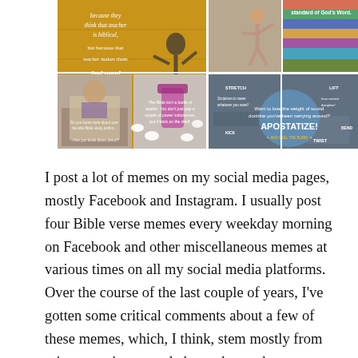[Figure (photo): A collage of six social media memes arranged in a 2x3 grid. Top-left: yellow background meme with italic text about teachers and 'feel good'. Top-middle: woman stretching. Top-right: colorful stripes with text 'standard of God's Word'. Bottom-left: girl reading Bible. Bottom-middle: pills/tablets spilling from bottle with text about Bible not being a bottle of aspirin. Bottom-right: blue balloon/ball meme with text 'APOSTATIZE!' and various workout-related words.]
I post a lot of memes on my social media pages, mostly Facebook and Instagram. I usually post four Bible verse memes every weekday morning on Facebook and other miscellaneous memes at various times on all my social media platforms. Over the course of the last couple of years, I've gotten some critical comments about a few of these memes, which, I think, stem mostly from misconceptions people have about what a meme is and the purpose and function of the function of